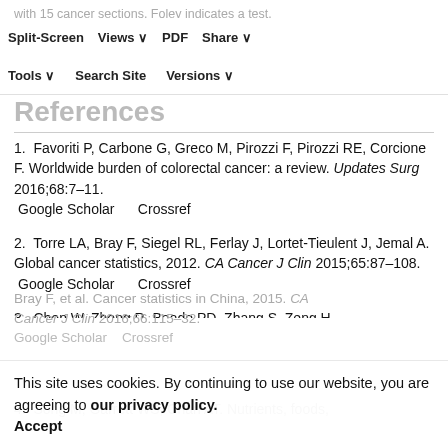Split-Screen  Views  PDF  Share  Tools  Search Site  Versions
References
1. Favoriti P, Carbone G, Greco M, Pirozzi F, Pirozzi RE, Corcione F. Worldwide burden of colorectal cancer: a review. Updates Surg 2016;68:7–11. Google Scholar  Crossref
2. Torre LA, Bray F, Siegel RL, Ferlay J, Lortet-Tieulent J, Jemal A. Global cancer statistics, 2012. CA Cancer J Clin 2015;65:87–108. Google Scholar  Crossref
3. Chen W, Zheng R, Baade PD, Zhang S, Zeng H, Bray F, et al. Cancer statistics in China, 2015. CA Cancer J Clin 2016;66:115–32. Google Scholar  Crossref
This site uses cookies. By continuing to use our website, you are agreeing to our privacy policy.
Accept
4. Song M, Garrett WS, Chan AT. Nutrients, foods, ...